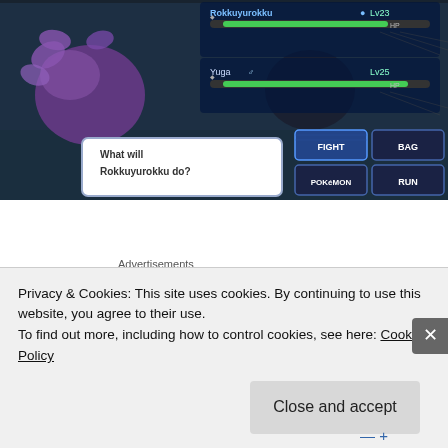[Figure (screenshot): Pokemon game battle screenshot showing a battle scene. Top displays 'Rokkuyurokku Lv25' HP bar and 'Yuga male Lv25' HP bar in green. Battle dialogue box reads 'What will Rokkuyurokku do?' with menu buttons: FIGHT, BAG, POKEMON, RUN.]
Advertisements
[Figure (infographic): Orange and black advertisement bar]
The game isn't perfect, there are a few minor issues such as the fact that during a puzzle with some followers you are able to trap yourself.. if you save it
Privacy & Cookies: This site uses cookies. By continuing to use this website, you agree to their use.
To find out more, including how to control cookies, see here: Cookie Policy
Close and accept